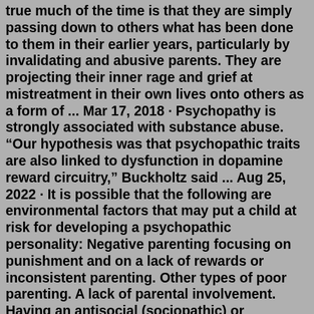true much of the time is that they are simply passing down to others what has been done to them in their earlier years, particularly by invalidating and abusive parents. They are projecting their inner rage and grief at mistreatment in their own lives onto others as a form of ... Mar 17, 2018 · Psychopathy is strongly associated with substance abuse. "Our hypothesis was that psychopathic traits are also linked to dysfunction in dopamine reward circuitry," Buckholtz said ... Aug 25, 2022 · It is possible that the following are environmental factors that may put a child at risk for developing a psychopathic personality: Negative parenting focusing on punishment and on a lack of rewards or inconsistent parenting. Other types of poor parenting. A lack of parental involvement. Having an antisocial (sociopathic) or psychopathic parent. psychopathies). In order to facilitate and broaden international cooperation in the cause of perfecting the diagnosis of mental diseases, during the last two decades our country uses the International Classification of Diseases, suggested by the WHO. At